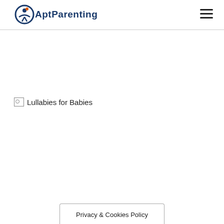AptParenting
[Figure (illustration): Broken image placeholder with alt text 'Lullabies for Babies']
Privacy & Cookies Policy